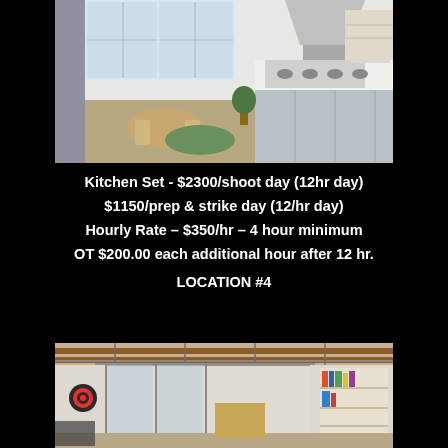[Figure (photo): Interior photo of a kitchen set with white countertops, gas range, overhead hood, and a seating area with a round wooden table in the background with a green rug.]
Kitchen Set - $2300/shoot day (12hr day)
$1150/prep & strike day (12/hr day)
Hourly Rate – $350/hr – 4 hour minimum
OT $200.00 each additional hour after 12 hr.
LOCATION #4
[Figure (photo): Interior photo of a studio space with exposed wood beam ceiling, sheer curtain dividers, a dartboard on the wall, and a built-in bookshelf.]